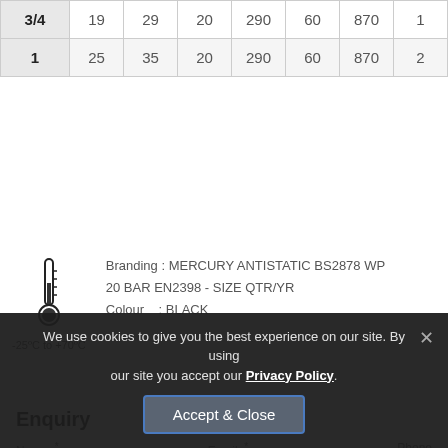| Size | Col2 | Col3 | Col4 | Col5 | Col6 | Col7 | Col8 |
| --- | --- | --- | --- | --- | --- | --- | --- |
| 3/4 | 19 | 29 | 20 | 290 | 60 | 870 | 1 |
| 1 | 25 | 35 | 20 | 290 | 60 | 870 | 2 |
Branding : MERCURY ANTISTATIC BS2878 WP 20 BAR EN2398 - SIZE QTR/YR
Colour : BLACK
-25ºC to +70ºC
Enquiry
Name *    Email *    Phone
We use cookies to give you the best experience on our site. By using our site you accept our Privacy Policy.